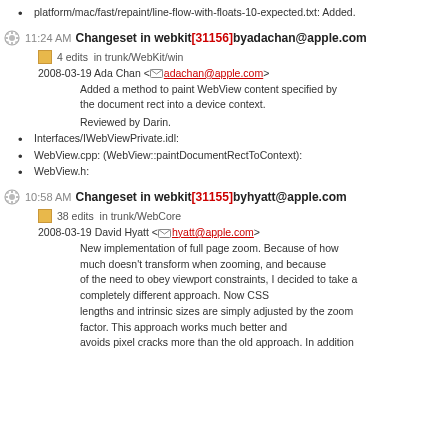platform/mac/fast/repaint/line-flow-with-floats-10-expected.txt: Added.
11:24 AM Changeset in webkit [31156] by adachan@apple.com
4 edits  in trunk/WebKit/win
2008-03-19 Ada Chan <adachan@apple.com>
Added a method to paint WebView content specified by the document rect into a device context.
Reviewed by Darin.
Interfaces/IWebViewPrivate.idl:
WebView.cpp: (WebView::paintDocumentRectToContext):
WebView.h:
10:58 AM Changeset in webkit [31155] by hyatt@apple.com
38 edits  in trunk/WebCore
2008-03-19 David Hyatt <hyatt@apple.com>
New implementation of full page zoom. Because of how much doesn't transform when zooming, and because of the need to obey viewport constraints, I decided to take a completely different approach. Now CSS lengths and intrinsic sizes are simply adjusted by the zoom factor. This approach works much better and avoids pixel cracks more than the old approach. In addition